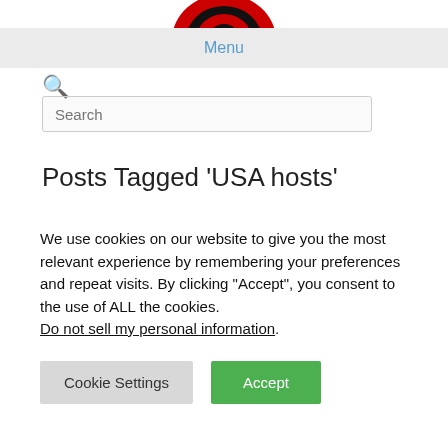[Figure (logo): Partial logo with red and black circular design, cropped at top of page]
Menu
🔍 Search
Posts Tagged 'USA hosts'
We use cookies on our website to give you the most relevant experience by remembering your preferences and repeat visits. By clicking "Accept", you consent to the use of ALL the cookies.
Do not sell my personal information.
Cookie Settings  Accept